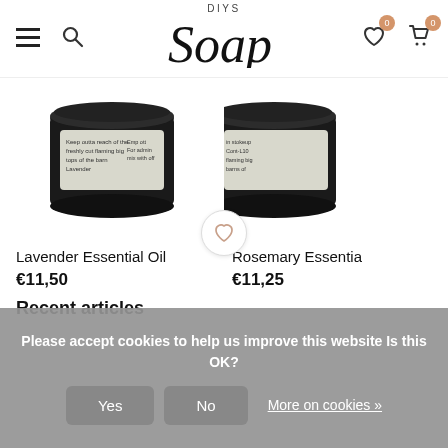DIYS Soap – navigation header with hamburger menu, search, logo, wishlist (0), cart (0)
[Figure (photo): Dark glass jar product photo for Lavender Essential Oil, partially cropped at top]
[Figure (photo): Dark glass jar product photo for Rosemary Essential Oil, partially cropped at top right]
Lavender Essential Oil
€11,50
Rosemary Essentia…
€11,25
Recent articles
Please accept cookies to help us improve this website Is this OK?
Yes  No  More on cookies »